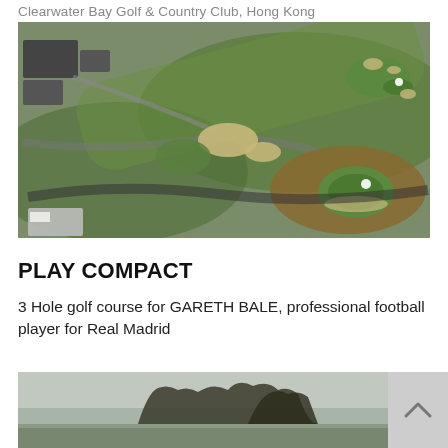Clearwater Bay Golf & Country Club, Hong Kong
[Figure (photo): Aerial view of a golf course showing green fairways, sand bunkers, a water hazard with an island green, and course buildings in the upper left.]
PLAY COMPACT
3 Hole golf course for GARETH BALE, professional football player for Real Madrid
[Figure (photo): Partial view of a misty golf course landscape with bare trees in the background; partially obscured by a scroll-up button overlay.]